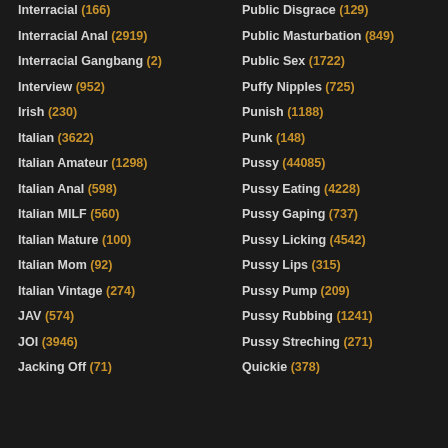Interracial (166)
Interracial Anal (2919)
Interracial Gangbang (2)
Interview (952)
Irish (230)
Italian (3622)
Italian Amateur (1298)
Italian Anal (598)
Italian MILF (560)
Italian Mature (100)
Italian Mom (92)
Italian Vintage (274)
JAV (574)
JOI (3946)
Jacking Off (71)
Public Disgrace (129)
Public Masturbation (849)
Public Sex (1722)
Puffy Nipples (725)
Punish (1188)
Punk (148)
Pussy (44085)
Pussy Eating (4228)
Pussy Gaping (737)
Pussy Licking (4542)
Pussy Lips (315)
Pussy Pump (209)
Pussy Rubbing (1241)
Pussy Streching (271)
Quickie (378)